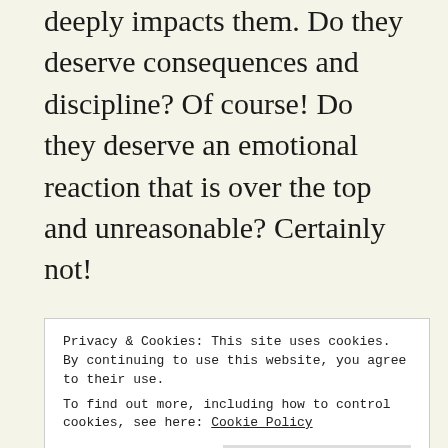deeply impacts them. Do they deserve consequences and discipline? Of course! Do they deserve an emotional reaction that is over the top and unreasonable? Certainly not!
The Waynes are very honest throughout the pages. I really like their alternating perspectives which tell so much about where they came from and not only why
Privacy & Cookies: This site uses cookies. By continuing to use this website, you agree to their use. To find out more, including how to control cookies, see here: Cookie Policy
is important to them. Their honesty is inspiring